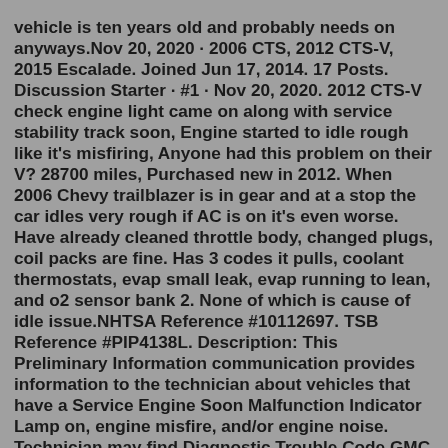vehicle is ten years old and probably needs on anyways.Nov 20, 2020 · 2006 CTS, 2012 CTS-V, 2015 Escalade. Joined Jun 17, 2014. 17 Posts. Discussion Starter · #1 · Nov 20, 2020. 2012 CTS-V check engine light came on along with service stability track soon, Engine started to idle rough like it's misfiring, Anyone had this problem on their V? 28700 miles, Purchased new in 2012. When 2006 Chevy trailblazer is in gear and at a stop the car idles very rough if AC is on it's even worse. Have already cleaned throttle body, changed plugs, coil packs are fine. Has 3 codes it pulls, coolant thermostats, evap small leak, evap running to lean, and o2 sensor bank 2. None of which is cause of idle issue.NHTSA Reference #10112697. TSB Reference #PIP4138L. Description: This Preliminary Information communication provides information to the technician about vehicles that have a Service Engine Soon Malfunction Indicator Lamp on, engine misfire, and/or engine noise. Technician may find Diagnostic Trouble Code.GMC Envoy